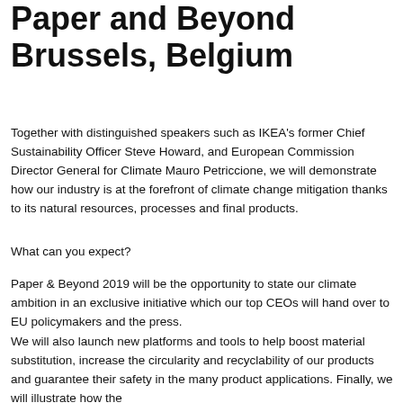Paper and Beyond Brussels, Belgium
Together with distinguished speakers such as IKEA's former Chief Sustainability Officer Steve Howard, and European Commission Director General for Climate Mauro Petriccione, we will demonstrate how our industry is at the forefront of climate change mitigation thanks to its natural resources, processes and final products.
What can you expect?
Paper & Beyond 2019 will be the opportunity to state our climate ambition in an exclusive initiative which our top CEOs will hand over to EU policymakers and the press.
We will also launch new platforms and tools to help boost material substitution, increase the circularity and recyclability of our products and guarantee their safety in the many product applications. Finally, we will illustrate how the